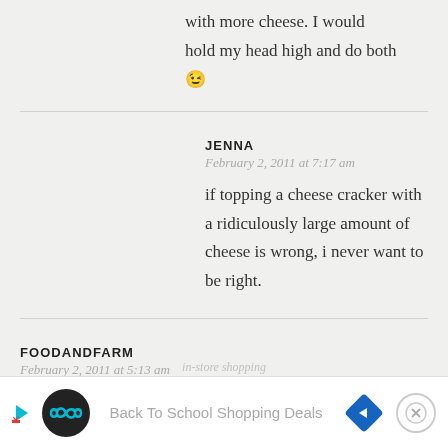with more cheese. I would hold my head high and do both 😉
JENNA
February 2, 2011 at 7:17 am
if topping a cheese cracker with a ridiculously large amount of cheese is wrong, i never want to be right.
FOODANDFARM
February 2, 2011 at 5:13 am
These look amazing, and would go great with steak. or bacon.
Back To School Shopping Deals